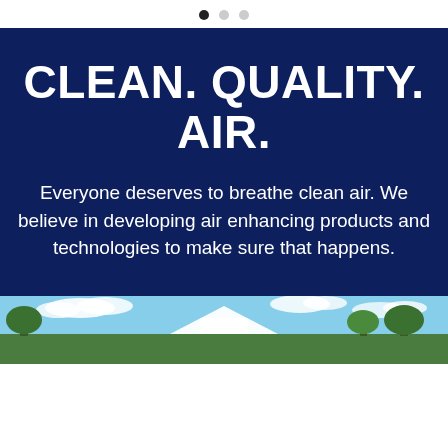• · ·
CLEAN. QUALITY. AIR.
Everyone deserves to breathe clean air. We believe in developing air enhancing products and technologies to make sure that happens.
[Figure (photo): Outdoor photograph showing a building or structure with trees and a blue cloudy sky in the background.]